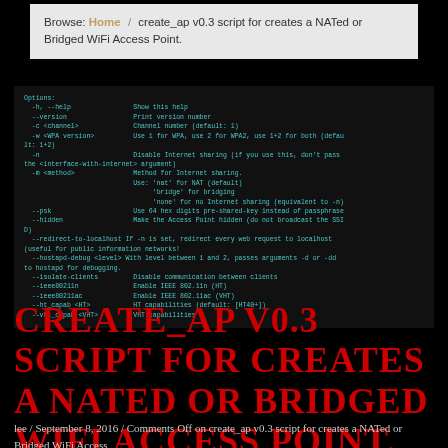Browse: Home / create_ap v0.3 script for creates a NATed or Bridged WiFi Access Point.
Options:
  -h, --help                Show this help
  --version                 Print version number
  -c <channel>              Channel number (default: 1)
  -w <WPA version>          Use 1 for WPA, use 2 for WPA2, use 1+2 for both (default: 1+2)
  -n                        Disable Internet sharing (if you use this, don't pass the <interface-with-internet> argument)
  -m <method>               Method for Internet sharing.
                            Use: 'nat' for NAT (default)
                                 'bridge' for bridging
                                 'none' for no Internet sharing (equivalent to -n)
  --psk                     Use 64 hex digits pre-shared-key instead of passphrase
  --hidden                  Make the Access Point hidden (do not broadcast the SSID)
  --redirect-to-localhost If -n is set, redirect every web request to localhost (useful for public information networks!
  --hostapd-debug <level> With level between 1 and 2, passes arguments -d or -dd to hostapd for debugging.
  --isolate-clients         Disable communication between clients
  --ieee80211n              Enable IEEE 802.11n (HT)
  --ieee80211ac             Enable IEEE 802.11ac (VHT)
  --ht_capab <HT>           HT capabilities (default: [HT40+])
  --vht_capab <VHT>         VHT capabilities
CREATE_AP V0.3 SCRIPT FOR CREATES A NATED OR BRIDGED WIFI ACCESS POINT.
lee / September 8, 2016 / Comments Off on create_ap v0.3 script for creates a NATed or Bridged WiFi Access